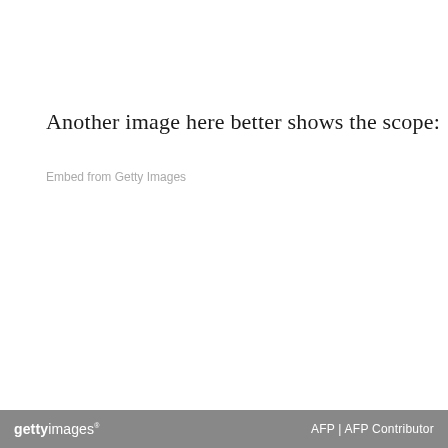Another image here better shows the scope:
Embed from Getty Images
gettyimages   AFP | AFP Contributor